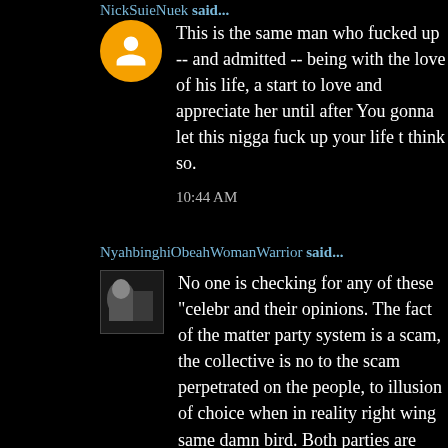NickSuieNuek said...
This is the same man who fucked up -- and admitted -- being with the love of his life, a start to love and appreciate her until after You gonna let this nigga fuck up your life t think so.
10:44 AM
NyahbinghiObeahWomanWarrior said...
No one is checking for any of these "celebr and their opinions. The fact of the matter party system is a scam, the collective is no to the scam perpetrated on the people, to illusion of choice when in reality right wing same damn bird. Both parties are beholde foreign interest groups, lobbyist, corpora the so called parasitic "elites" and whoever are tired of voting for the lesser of two ev